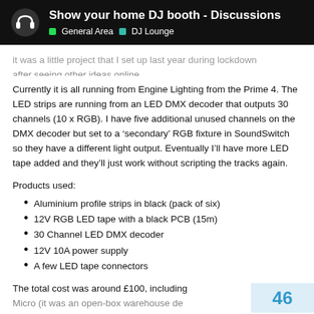Show your home DJ booth - Discussions | General Area | DJ Lounge
It was a little project that I set up last year during lockdown after seeing other ideas online.
Currently it is all running from Engine Lighting from the Prime 4. The LED strips are running from an LED DMX decoder that outputs 30 channels (10 x RGB). I have five additional unused channels on the DMX decoder but set to a ‘secondary’ RGB fixture in SoundSwitch so they have a different light output. Eventually I’ll have more LED tape added and they’ll just work without scripting the tracks again.
Products used:
Aluminium profile strips in black (pack of six)
12V RGB LED tape with a black PCB (15m)
30 Channel LED DMX decoder
12V 10A power supply
A few LED tape connectors
The total cost was around £100, including... Micro (it was an open-box warehouse de...